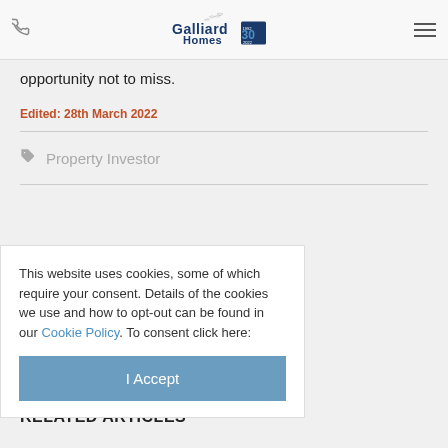Galliard Homes
opportunity not to miss.
Edited: 28th March 2022
Property Investor
This website uses cookies, some of which require your consent. Details of the cookies we use and how to opt-out can be found in our Cookie Policy. To consent click here:
I Accept
RELATED ARTICLES